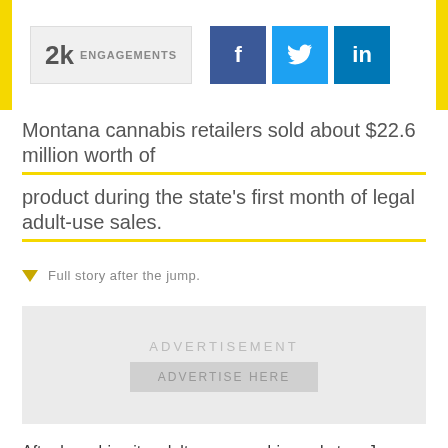[Figure (other): Social share bar with 2k engagements counter and Facebook, Twitter, LinkedIn buttons]
Montana cannabis retailers sold about $22.6 million worth of product during the state's first month of legal adult-use sales.
Full story after the jump.
[Figure (other): Advertisement placeholder box with ADVERTISE HERE button]
After launching its adult-use cannabis market on January 1, Montana closed out the month with $22.6 million in total cannabis sales, including nearly $12.9 million in recreational sales, according to Department of Revenue data outlined by KULR 8. Medical cannabis